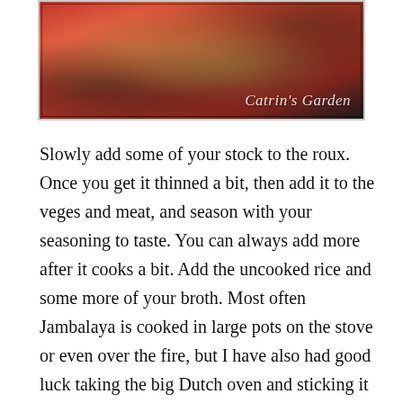[Figure (photo): Photo of a cooked Jambalaya dish in a dark skillet/pan, with a cursive watermark reading 'Catrin's Garden' in the lower right corner.]
Slowly add some of your stock to the roux. Once you get it thinned a bit, then add it to the veges and meat, and season with your seasoning to taste. You can always add more after it cooks a bit. Add the uncooked rice and some more of your broth. Most often Jambalaya is cooked in large pots on the stove or even over the fire, but I have also had good luck taking the big Dutch oven and sticking it in the oven. Check and stir from time to time. Add more broth as needed until the rice is just right.